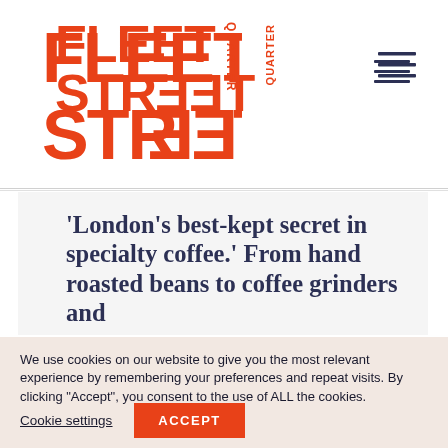[Figure (logo): Fleet Street Quarter logo in orange/red bold text with 'QUARTER' written vertically]
'London's best-kept secret in specialty coffee.' From hand roasted beans to coffee grinders and
We use cookies on our website to give you the most relevant experience by remembering your preferences and repeat visits. By clicking "Accept", you consent to the use of ALL the cookies.
Cookie settings
ACCEPT